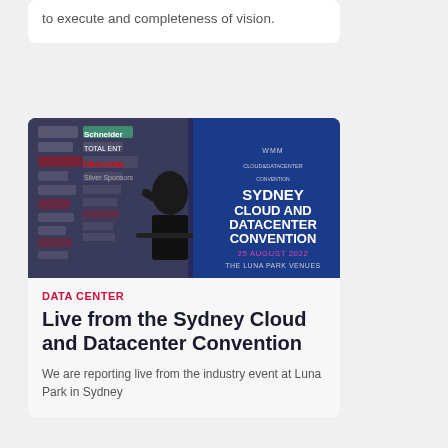to execute and completeness of vision.
[Figure (photo): A man speaking at a podium at the Sydney Cloud and Datacenter Convention on 25 August 2022 at The Luna Park Venues. A branded banner is visible behind him with sponsor logos including Schneider, PROCORE, and others.]
DATA CENTER
Live from the Sydney Cloud and Datacenter Convention
We are reporting live from the industry event at Luna Park in Sydney